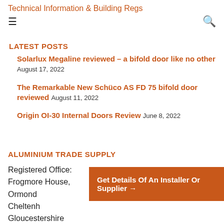Technical Information & Building Regs
LATEST POSTS
Solarlux Megaline reviewed – a bifold door like no other August 17, 2022
The Remarkable New Schüco AS FD 75 bifold door reviewed August 11, 2022
Origin OI-30 Internal Doors Review June 8, 2022
ALUMINIUM TRADE SUPPLY
Registered Office:
Frogmore House,
Ormond
Cheltenh
Gloucestershire
Get Details Of An Installer Or Supplier →